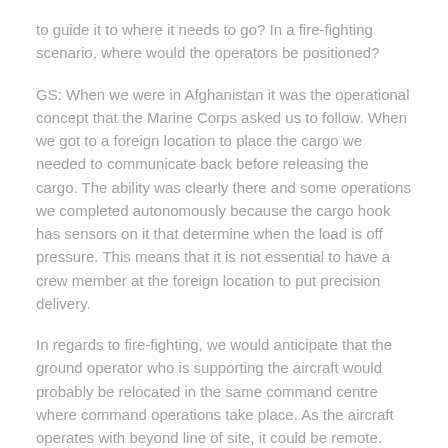to guide it to where it needs to go? In a fire-fighting scenario, where would the operators be positioned?
GS: When we were in Afghanistan it was the operational concept that the Marine Corps asked us to follow. When we got to a foreign location to place the cargo we needed to communicate back before releasing the cargo. The ability was clearly there and some operations we completed autonomously because the cargo hook has sensors on it that determine when the load is off pressure. This means that it is not essential to have a crew member at the foreign location to put precision delivery.
In regards to fire-fighting, we would anticipate that the ground operator who is supporting the aircraft would probably be relocated in the same command centre where command operations take place. As the aircraft operates with beyond line of site, it could be remote.
Have you programmed the software to deal with the various wind conditions faced during a fire?